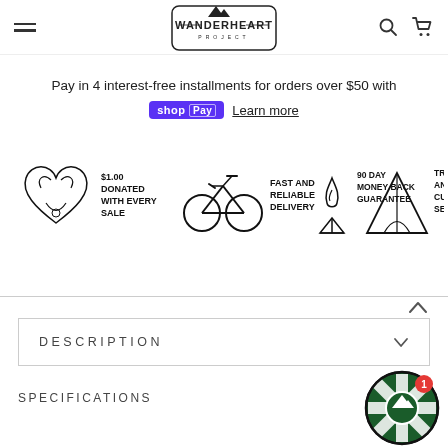[Figure (logo): The Wanderheart Project logo with mountain graphic in a badge-style frame]
Pay in 4 interest-free installments for orders over $50 with shop Pay  Learn more
[Figure (infographic): Four badge icons: anatomical heart with '$1.00 DONATED WITH EVERY SALE', mountain bike with 'FAST AND RELIABLE DELIVERY', campfire with '90 DAY MONEY BACK GUARANTEE', tent with 'TRUSTWORTHY AND QUICK CUSTOMER SERVICE']
DESCRIPTION
SPECIFICATIONS
[Figure (other): Green and white spin-the-wheel discount widget with a mountain icon in the center and a red notification badge showing 1]